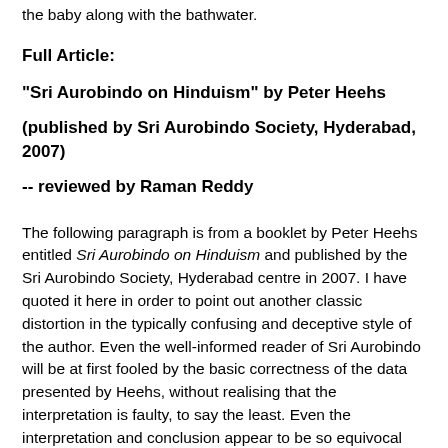the baby along with the bathwater.
Full Article:
"Sri Aurobindo on Hinduism" by Peter Heehs
(published by Sri Aurobindo Society, Hyderabad, 2007)
-- reviewed by Raman Reddy
The following paragraph is from a booklet by Peter Heehs entitled Sri Aurobindo on Hinduism and published by the Sri Aurobindo Society, Hyderabad centre in 2007. I have quoted it here in order to point out another classic distortion in the typically confusing and deceptive style of the author. Even the well-informed reader of Sri Aurobindo will be at first fooled by the basic correctness of the data presented by Heehs, without realising that the interpretation is faulty, to say the least. Even the interpretation and conclusion appear to be so equivocal that the reader would sometimes not